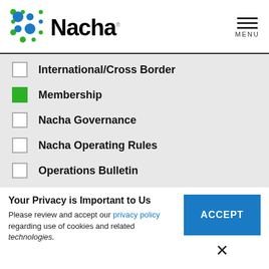[Figure (logo): Nacha logo with colorful dot pattern and bold Nacha text with registered trademark]
International/Cross Border (unchecked)
Membership (checked, green)
Nacha Governance (unchecked)
Nacha Operating Rules (unchecked)
Operations Bulletin (unchecked)
Your Privacy is Important to Us
Please review and accept our privacy policy regarding use of cookies and related technologies.